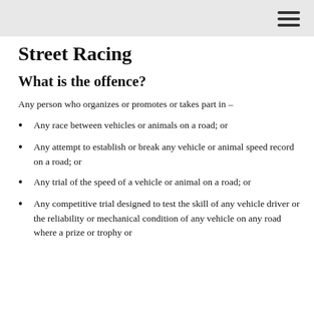Street Racing
What is the offence?
Any person who organizes or promotes or takes part in –
Any race between vehicles or animals on a road; or
Any attempt to establish or break any vehicle or animal speed record on a road; or
Any trial of the speed of a vehicle or animal on a road; or
Any competitive trial designed to test the skill of any vehicle driver or the reliability or mechanical condition of any vehicle on any road where a prize or trophy or